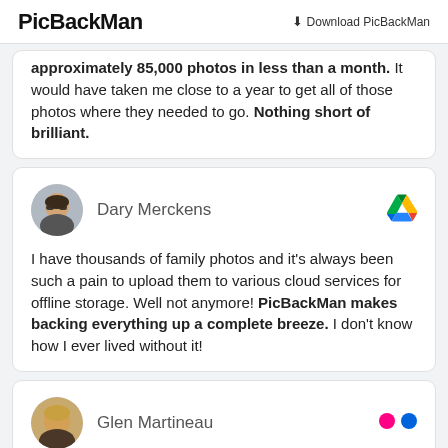PicBackMan | Download PicBackMan
approximately 85,000 photos in less than a month. It would have taken me close to a year to get all of those photos where they needed to go. Nothing short of brilliant.
Dary Merckens
I have thousands of family photos and it's always been such a pain to upload them to various cloud services for offline storage. Well not anymore! PicBackMan makes backing everything up a complete breeze. I don't know how I ever lived without it!
Glen Martineau